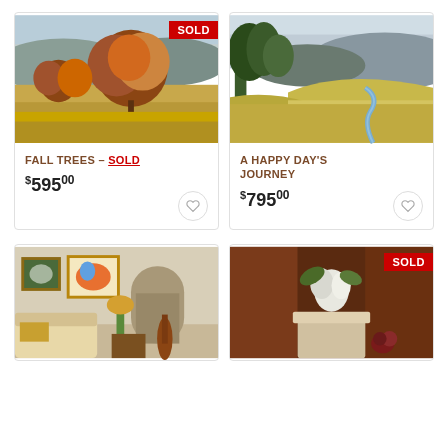[Figure (photo): Oil painting of fall trees with autumn foliage in a landscape with mountains, marked SOLD]
FALL TREES – SOLD
$595.00
[Figure (photo): Oil painting of a landscape with green trees and rolling hills and a stream]
A HAPPY DAY'S JOURNEY
$795.00
[Figure (photo): Oil painting of an interior room with paintings on the wall, a sofa, and a violin]
[Figure (photo): Oil painting of a still life with white flower and fruit, marked SOLD]